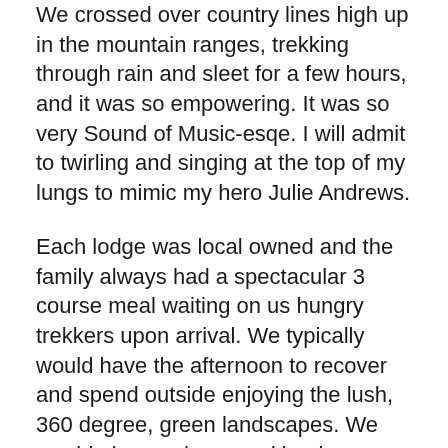We crossed over country lines high up in the mountain ranges, trekking through rain and sleet for a few hours, and it was so empowering. It was so very Sound of Music-esqe. I will admit to twirling and singing at the top of my lungs to mimic my hero Julie Andrews.
Each lodge was local owned and the family always had a spectacular 3 course meal waiting on us hungry trekkers upon arrival. We typically would have the afternoon to recover and spend outside enjoying the lush, 360 degree, green landscapes. We would play cards or read books or both. The rooms had bunk beds and we crashed early, as we were up at 6am daily to tackle the next leg.
I even remember one day I was so inspired that I